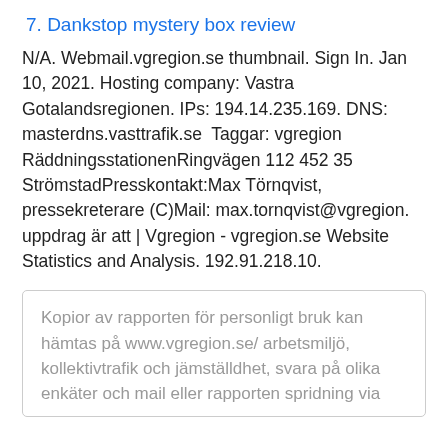7. Dankstop mystery box review
N/A. Webmail.vgregion.se thumbnail. Sign In. Jan 10, 2021. Hosting company: Vastra Gotalandsregionen. IPs: 194.14.235.169. DNS: masterdns.vasttrafik.se  Taggar: vgregion RäddningsstationenRingvägen 112 452 35 StrömstadPresskontakt:Max Törnqvist, pressekreterare (C)Mail: max.tornqvist@vgregion. uppdrag är att | Vgregion - vgregion.se Website Statistics and Analysis. 192.91.218.10.
Kopior av rapporten för personligt bruk kan hämtas på www.vgregion.se/ arbetsmiljö, kollektivtrafik och jämställdhet, svara på olika enkäter och mail eller rapporten spridning via